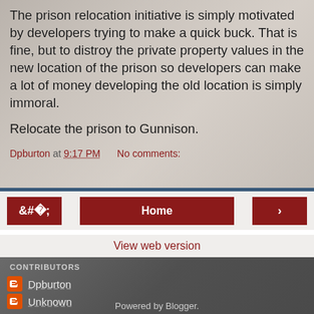The prison relocation initiative is simply motivated by developers trying to make a quick buck. That is fine, but to distroy the private property values in the new location of the prison so developers can make a lot of money developing the old location is simply immoral.
Relocate the prison to Gunnison.
Dpburton at 9:17 PM    No comments:
[Figure (screenshot): Navigation buttons: left arrow, Home button, right arrow]
View web version
CONTRIBUTORS
Dpburton
Unknown
Powered by Blogger.